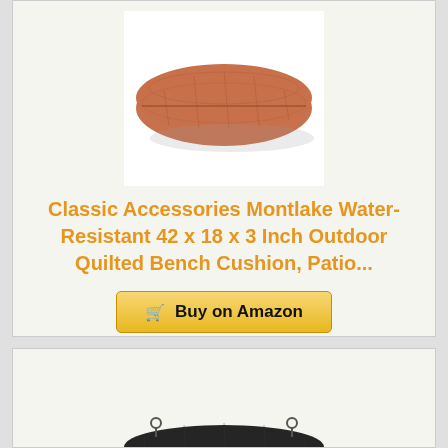[Figure (photo): Brown/terracotta colored rectangular quilted bench cushion viewed from above at an angle on white background]
Classic Accessories Montlake Water-Resistant 42 x 18 x 3 Inch Outdoor Quilted Bench Cushion, Patio...
[Figure (other): Buy on Amazon button with shopping cart icon]
[Figure (photo): Black rectangular bench cushion with tie strings at corners, viewed from slight angle on white/light background]